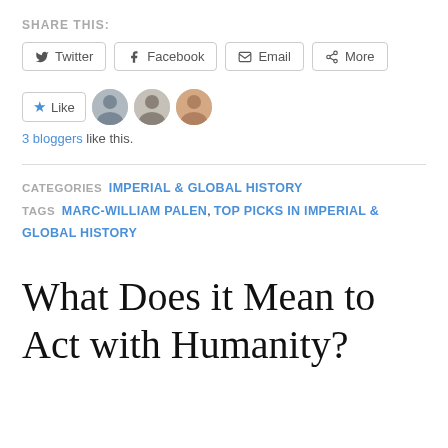SHARE THIS:
Twitter | Facebook | Email | More
Like | 3 bloggers like this.
CATEGORIES  IMPERIAL & GLOBAL HISTORY
TAGS  MARC-WILLIAM PALEN, TOP PICKS IN IMPERIAL & GLOBAL HISTORY
What Does it Mean to Act with Humanity?